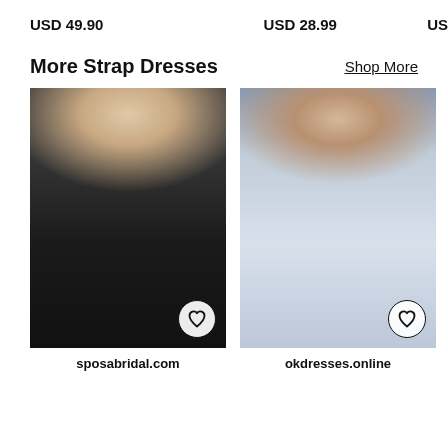USD 49.90
USD 28.99
US
More Strap Dresses
Shop More
[Figure (photo): Woman wearing a black spaghetti strap tulle ball gown with a slit, taking a mirror selfie]
sposabridal.com
[Figure (photo): Woman wearing a silver/white sparkly spaghetti strap corset gown with a tiara, seated on a grey sofa]
okdresses.online
iulc